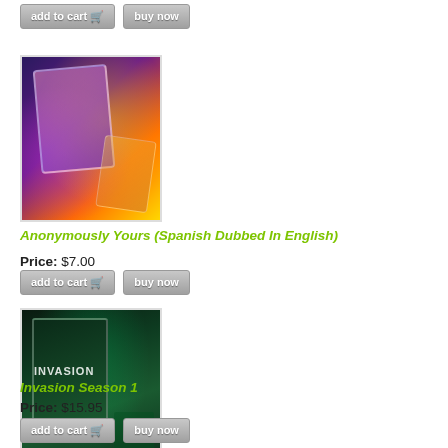[Figure (other): Add to cart and Buy now buttons partially visible at top of page]
[Figure (photo): Product image for Anonymously Yours (Spanish Dubbed In English) - colorful abstract card with purple and orange tones held against city background]
Anonymously Yours (Spanish Dubbed In English)
Price: $7.00
[Figure (other): Add to cart and Buy now buttons for Anonymously Yours]
[Figure (photo): Product image for Invasion Season 1 - dark teal movie cover with INVASION text held against city background]
Invasion Season 1
Price: $15.95
[Figure (other): Add to cart and Buy now buttons for Invasion Season 1]
[Figure (photo): Partial product image visible at bottom of page]